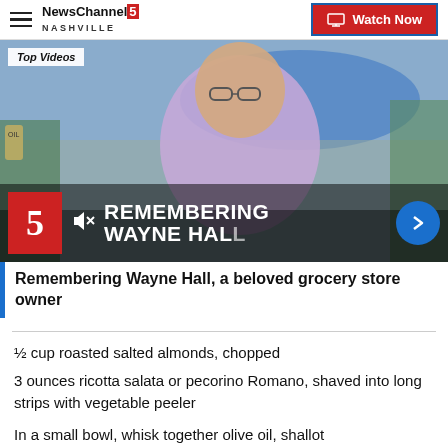NewsChannel 5 NASHVILLE — Watch Now
[Figure (screenshot): Video thumbnail showing an older man in a purple shirt with 'REMEMBERING WAYNE HALL' text overlay and NewsChannel 5 logo. Top Videos badge visible.]
Remembering Wayne Hall, a beloved grocery store owner
½ cup roasted salted almonds, chopped
3 ounces ricotta salata or pecorino Romano, shaved into long strips with vegetable peeler
In a small bowl, whisk together olive oil, shallot